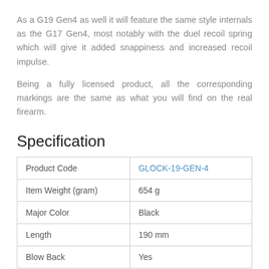As a G19 Gen4 as well it will feature the same style internals as the G17 Gen4, most notably with the duel recoil spring which will give it added snappiness and increased recoil impulse.
Being a fully licensed product, all the corresponding markings are the same as what you will find on the real firearm.
Specification
|  |  |
| --- | --- |
| Product Code | GLOCK-19-GEN-4 |
| Item Weight (gram) | 654 g |
| Major Color | Black |
| Length | 190 mm |
| Blow Back | Yes |